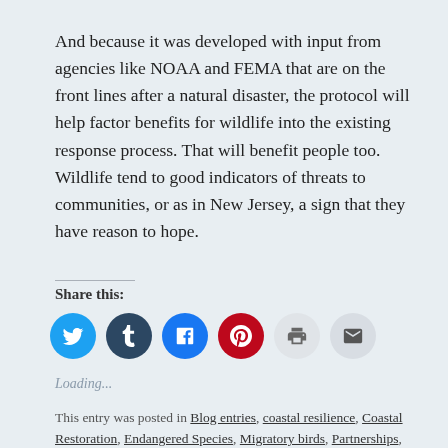And because it was developed with input from agencies like NOAA and FEMA that are on the front lines after a natural disaster, the protocol will help factor benefits for wildlife into the existing response process. That will benefit people too. Wildlife tend to good indicators of threats to communities, or as in New Jersey, a sign that they have reason to hope.
Share this:
[Figure (infographic): Six social sharing icon buttons in circles: Twitter (blue), Tumblr (dark navy), Facebook (blue), Pinterest (red), Print (light gray), Email (light gray)]
Loading...
This entry was posted in Blog entries, coastal resilience, Coastal Restoration, Endangered Species, Migratory birds, Partnerships, Science and research, Strong After Sandy, stronger coast and